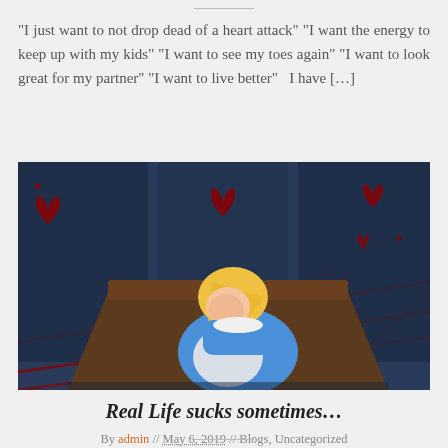“I just want to not drop dead of a heart attack” “I want the energy to keep up with my kids” “I want to see my toes again” “I want to look great for my partner” “I want to live better”  I have […]
[Figure (illustration): Alice in Wonderland cartoon character sitting at a table with her head in her hands in a facepalm pose, looking overwhelmed. Background shows playing cards with hearts and spades in a dark blue room.]
Real Life sucks sometimes…
By admin // May 6, 2019 // Blogs, Uncategorized